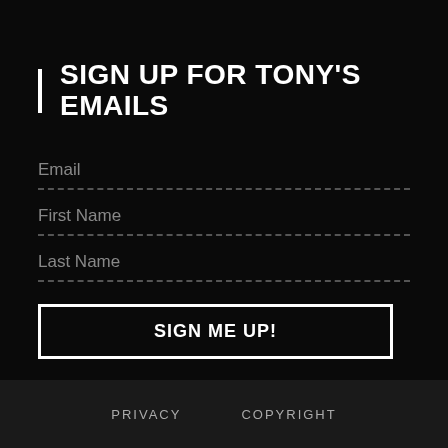SIGN UP FOR TONY'S EMAILS
Email
First Name
Last Name
SIGN ME UP!
PRIVACY   COPYRIGHT